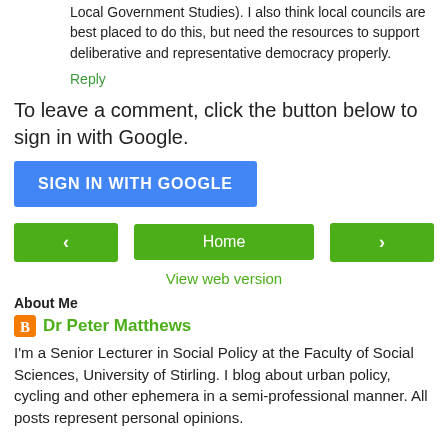Local Government Studies). I also think local councils are best placed to do this, but need the resources to support deliberative and representative democracy properly.
Reply
To leave a comment, click the button below to sign in with Google.
[Figure (other): Blue button labeled SIGN IN WITH GOOGLE]
[Figure (other): Navigation row with left arrow button, Home button, and right arrow button, all green]
View web version
About Me
Dr Peter Matthews
I'm a Senior Lecturer in Social Policy at the Faculty of Social Sciences, University of Stirling. I blog about urban policy, cycling and other ephemera in a semi-professional manner. All posts represent personal opinions.